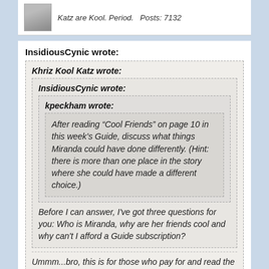Katz are Kool. Period.   Posts: 7132
InsidiousCynic wrote:
Khriz Kool Katz wrote:
InsidiousCynic wrote:
kpeckham wrote:
After reading “Cool Friends” on page 10 in this week’s Guide, discuss what things Miranda could have done differently. (Hint: there is more than one place in the story where she could have made a different choice.)
Before I can answer, I've got three questions for you: Who is Miranda, why are her friends cool and why can't I afford a Guide subscription?
Ummm...bro, this is for those who pay for and read the magazine. We don't have to answer cuz we can't.
Dude, don't disrespect the sarcasm.